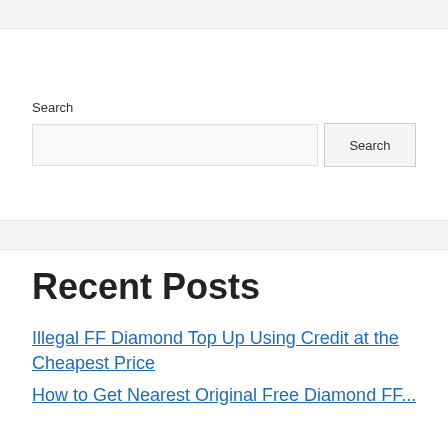Search
Search [input field] Search [button]
Recent Posts
Illegal FF Diamond Top Up Using Credit at the Cheapest Price
How to Get Nearest Original Free Diamond FF...